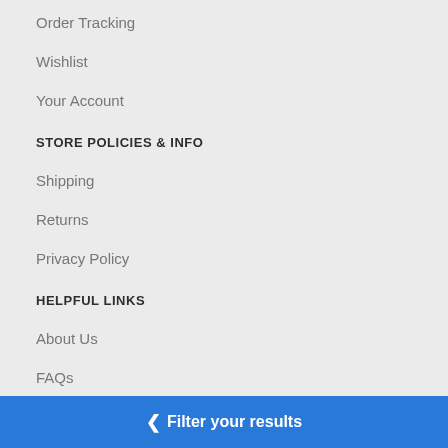Order Tracking
Wishlist
Your Account
STORE POLICIES & INFO
Shipping
Returns
Privacy Policy
HELPFUL LINKS
About Us
FAQs
Site Map
PAYMENT METHODS
Filter your results